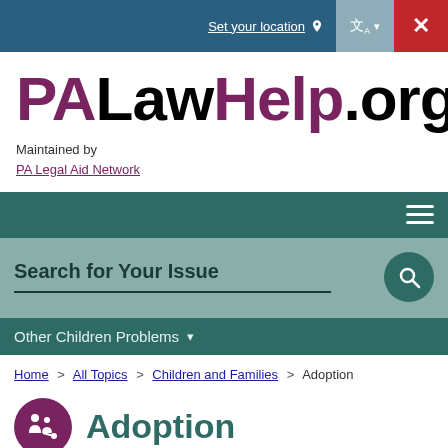Set your location | Translate | Close
PALawHelp.org
Maintained by
PA Legal Aid Network
[Figure (screenshot): Navigation bar with hamburger menu icon]
[Figure (screenshot): Search bar with label 'Search for Your Issue' and search button]
Other Children Problems
Home > All Topics > Children and Families > Adoption
Adoption